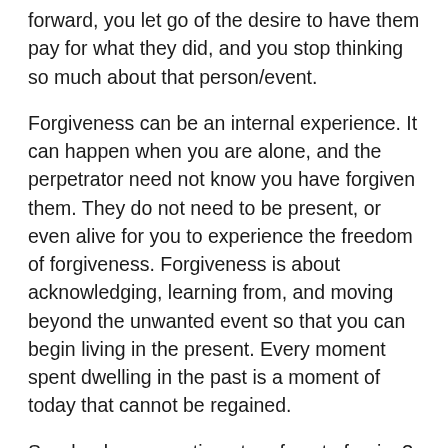forward, you let go of the desire to have them pay for what they did, and you stop thinking so much about that person/event.
Forgiveness can be an internal experience. It can happen when you are alone, and the perpetrator need not know you have forgiven them. They do not need to be present, or even alive for you to experience the freedom of forgiveness. Forgiveness is about acknowledging, learning from, and moving beyond the unwanted event so that you can begin living in the present. Every moment spent dwelling in the past is a moment of today that cannot be regained.
So why do you continue to refuse to forgive? Because you are still angry? Because they don't deserve it? You may be punishing yourself, thinking that if you suffer constantly the perpetrator will see your suffering and understand the magnitude of their wrongdoing. Maybe they will finally grasp the depth of your pain and feel remorse. Maybe they'll even